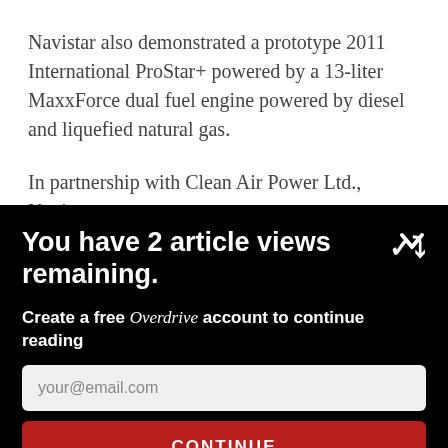Navistar also demonstrated a prototype 2011 International ProStar+ powered by a 13-liter MaxxForce dual fuel engine powered by diesel and liquefied natural gas.
In partnership with Clean Air Power Ltd., Navistar
[Figure (screenshot): Black overlay modal with bold white text reading 'You have 2 article views remaining.' with a chevron/down arrow icon, followed by text 'Create a free Overdrive account to continue reading', an email input field with placeholder 'your@email.com', and a red CONTINUE button.]